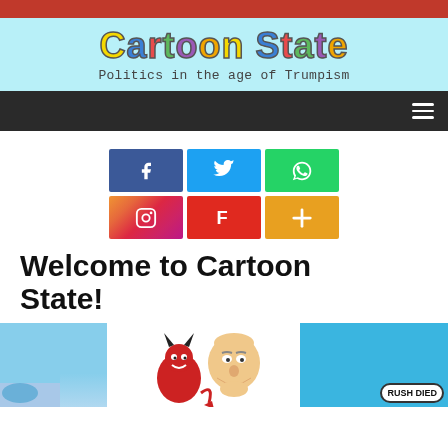Cartoon State
Politics in the age of Trumpism
[Figure (infographic): Six social media icon buttons in a 3x2 grid: Facebook (blue, f icon), Twitter (light blue, bird icon), WhatsApp (green, phone icon), Instagram (gradient, camera icon), Flipboard (red, F icon), More/Plus (orange, + icon)]
Welcome to Cartoon State!
[Figure (illustration): Three thumbnail images at bottom: a sky/nature scene, a cartoon devil with an old man, and a Rush Limbaugh parody image with text 'RUSH DIED']